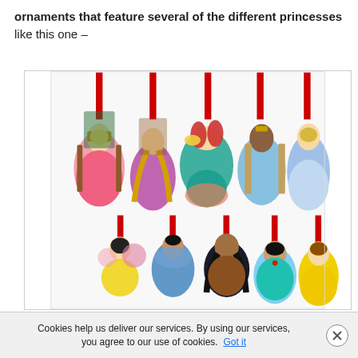ornaments that feature several of the different princesses like this one –
[Figure (photo): A collection of Disney Princess Christmas ornaments hanging from red ribbons. Top row features Aurora, Rapunzel, Ariel, Tiana, and Cinderella figurines. Bottom row features Snow White, Mulan, Pocahontas, Jasmine, and Belle figurines.]
Cookies help us deliver our services. By using our services, you agree to our use of cookies. Got it